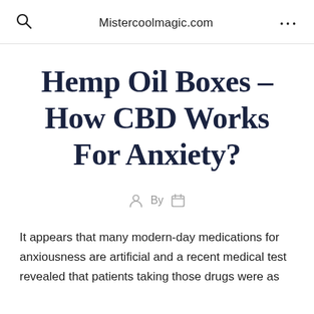Mistercoolmagic.com
Hemp Oil Boxes – How CBD Works For Anxiety?
By
It appears that many modern-day medications for anxiousness are artificial and a recent medical test revealed that patients taking those drugs were as